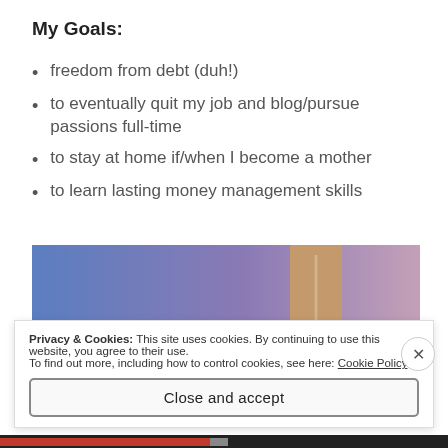My Goals:
freedom from debt (duh!)
to eventually quit my job and blog/pursue passions full-time
to stay at home if/when I become a mother
to learn lasting money management skills
[Figure (illustration): Decorative illustration with blue to purple gradient background and a brown/tan bookmark or card element in the upper right area]
Privacy & Cookies: This site uses cookies. By continuing to use this website, you agree to their use.
To find out more, including how to control cookies, see here: Cookie Policy
Close and accept